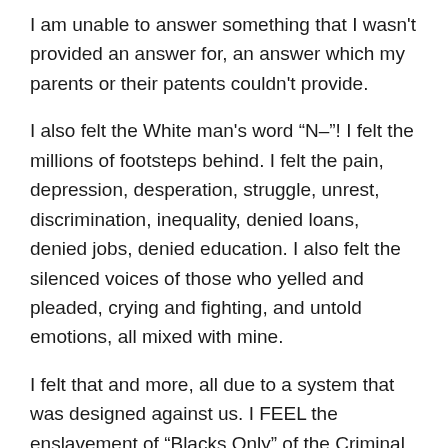I am unable to answer something that I wasn't provided an answer for, an answer which my parents or their patents couldn't provide.
I also felt the White man's word “N–”! I felt the millions of footsteps behind. I felt the pain, depression, desperation, struggle, unrest, discrimination, inequality, denied loans, denied jobs, denied education. I also felt the silenced voices of those who yelled and pleaded, crying and fighting, and untold emotions, all mixed with mine.
I felt that and more, all due to a system that was designed against us. I FEEL the enslavement of “Blacks Only” of the Criminal Justice System. I FEEL being three-fifths of a human under the